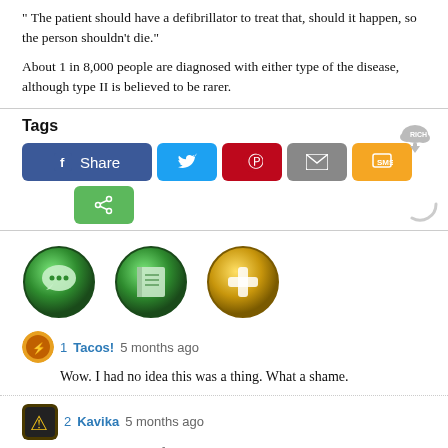"The patient should have a defibrillator to treat that, should it happen, so the person shouldn't die."
About 1 in 8,000 people are diagnosed with either type of the disease, although type II is believed to be rarer.
Tags
[Figure (screenshot): Social sharing buttons: Facebook Share, Twitter, Pinterest, Email, SMS, and a green share button]
[Figure (illustration): Three circular icons: green chat/messaging icon, green book/notes icon, gold medical plus icon]
1  Tacos!  5 months ago
Wow. I had no idea this was a thing. What a shame.
2  Kavika  5 months ago
I've never heard of this diease. What a tragedy.